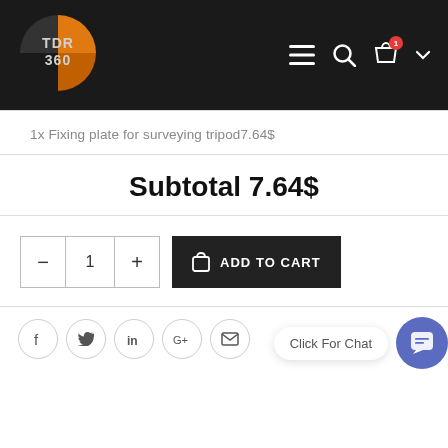[Figure (logo): TDR 360 logo — circular orange and black icon with silver metallic text 'TDR 360']
1x Fixing plate for surveying tripod7.64$
Subtotal 7.64$
ADD TO CART
Click For Chat